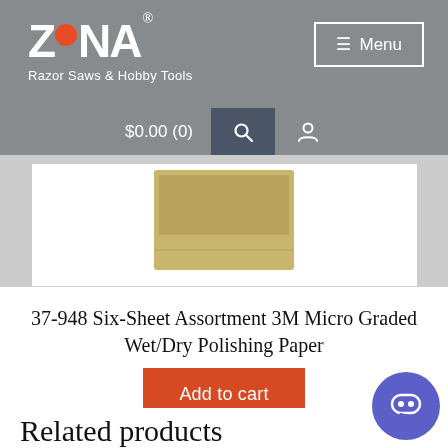ZONA Razor Saws & Hobby Tools — $0.00 (0) Menu
[Figure (photo): Partial product image showing polishing paper packaging against white background with gray surround]
37-948 Six-Sheet Assortment 3M Micro Graded Wet/Dry Polishing Paper
Add to cart
Related products